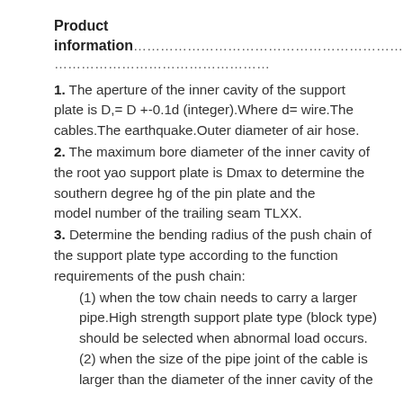Product information………………………………………………………………………………………………………………
1. The aperture of the inner cavity of the support plate is D,= D +-0.1d (integer).Where d= wire.The cables.The earthquake.Outer diameter of air hose.
2. The maximum bore diameter of the inner cavity of the root yao support plate is Dmax to determine the southern degree hg of the pin plate and the      model number of the trailing seam TLXX.
3. Determine the bending radius of the push chain of the support plate type according to the function requirements of the push chain:
(1) when the tow chain needs to carry a larger pipe.High strength support plate type (block type) should be selected when abnormal load occurs.
(2) when the size of the pipe joint of the cable is larger than the diameter of the inner cavity of the support plate from not eliminate problem.